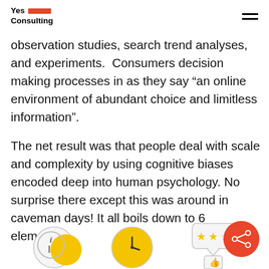Yes Consulting
observation studies, search trend analyses, and experiments.  Consumers decision making processes in as they say “an online environment of abundant choice and limitless information”.
The net result was that people deal with scale and complexity by using cognitive biases encoded deep into human psychology. No surprise there except this was around in caveman days! It all boils down to 6 elements:
[Figure (illustration): Row of three icons at the bottom: an info circle icon (letter i with yellow circle), a clock/timer icon with yellow circle, and a star rating speech bubble with thumbs up icon. Also an orange circular share button at right.]